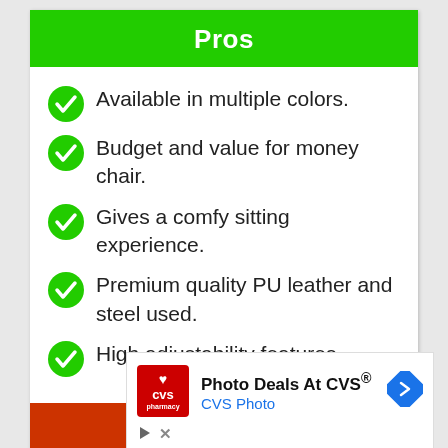Pros
Available in multiple colors.
Budget and value for money chair.
Gives a comfy sitting experience.
Premium quality PU leather and steel used.
High adjustability features.
Cons
Not have any serious cons.
[Figure (infographic): CVS Photo advertisement banner with CVS pharmacy logo, text 'Photo Deals At CVS®', 'CVS Photo', navigation arrow icon, and ad controls (play/close icons).]